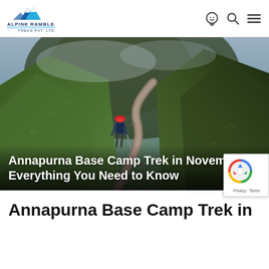[Figure (logo): Alpine Ramble Treks Pvt. Ltd. logo with mountain graphic in blue]
[Figure (photo): Hiker with red helmet and backpack walking along a steep mountain trail with green grassy slopes and rocky terrain under a cloudy sky]
Annapurna Base Camp Trek in November– Everything You Need to Know
[Figure (other): Google reCAPTCHA badge with spinning arrows logo and Privacy - Terms text]
Annapurna Base Camp Trek in